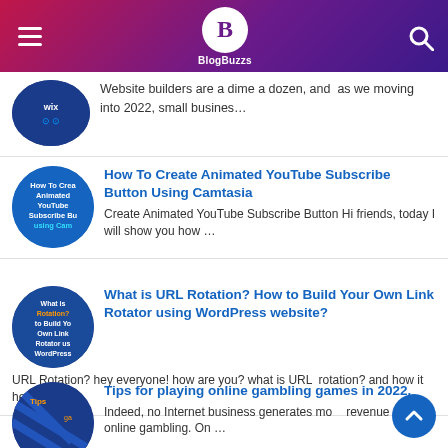BlogBuzzs
Website builders are a dime a dozen, and as we moving into 2022, small busines...
How To Create Animated YouTube Subscribe Button Using Camtasia
Create Animated YouTube Subscribe Button Hi friends, today I will show you how ...
What is URL Rotation? How to Build Your Own Link Rotator using WordPress website?
URL Rotation? hey everyone! how are you? what is URL rotation? and how it hel...
Tips for playing online gambling games in 2022.
Indeed, no Internet business generates more revenue than online gambling. On ...